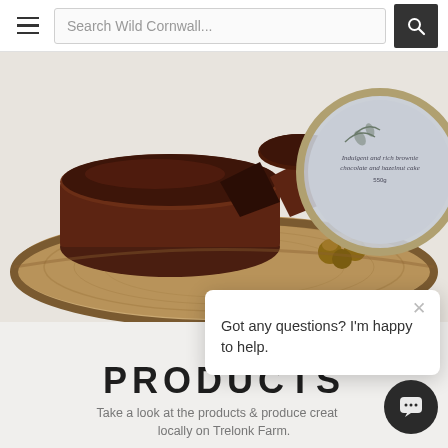Search Wild Cornwall...
[Figure (photo): A chocolate and hazelnut brownie cake on a wooden board, with hazelnuts and a round tin with botanical label reading 'Indulgent and rich brownie chocolate and hazelnut cake 550g']
BU
PRODUCTS
Take a look at the products & produce created locally on Trelonk Farm.
Got any questions? I'm happy to help.